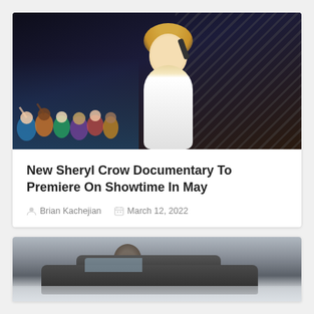[Figure (photo): A blonde female singer performing on stage holding a microphone, with crowd and metal scaffolding/barriers visible in the background. Concert setting, colorful crowd.]
New Sheryl Crow Documentary To Premiere On Showtime In May
Brian Kachejian   March 12, 2022
[Figure (photo): A partial image of a car with a person visible, black and white or muted tones, cropped at the bottom of the page.]